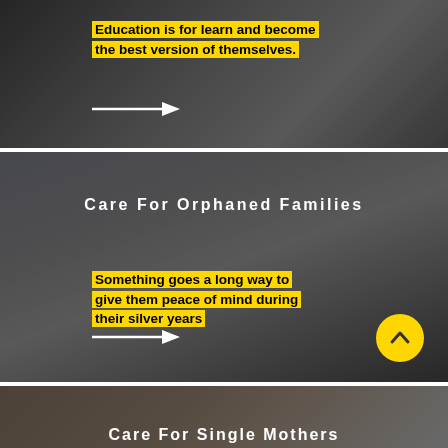[Figure (photo): Dark background photo of items on a table/desk, with yellow highlighted text overlay reading 'Education is for learn and become the best version of themselves.' and a white arrow pointing right.]
Education is for learn and become the best version of themselves.
[Figure (photo): Dark photo of two children lying down, with white bold text 'Care For Orphaned Families' and yellow highlighted text 'Something goes a long way to give them peace of mind during their silver years', a white arrow and a yellow circular back-to-top button.]
Care For Orphaned Families
Something goes a long way to give them peace of mind during their silver years
[Figure (photo): Partial dark photo at bottom with white bold text 'Care For Single Mothers' partially visible.]
Care For Single Mothers